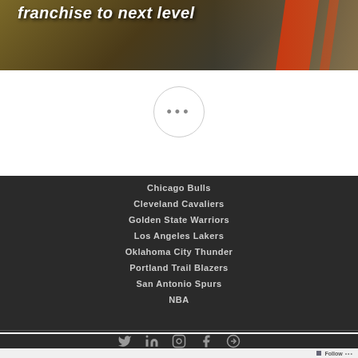[Figure (photo): Basketball player image with red and tan background, bold italic text 'franchise to next level' overlaid]
[Figure (other): White circle button with three dots (ellipsis) menu]
Chicago Bulls
Cleveland Cavaliers
Golden State Warriors
Los Angeles Lakers
Oklahoma City Thunder
Portland Trail Blazers
San Antonio Spurs
NBA
[Figure (other): Social media icons: Twitter, LinkedIn, Instagram, Facebook, and a circle-arrow icon]
Follow ...